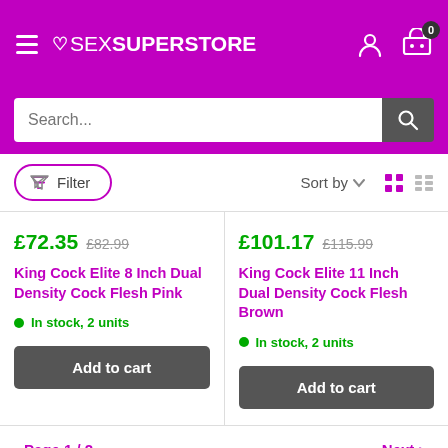[Figure (screenshot): Sex Superstore e-commerce website header with purple background, hamburger menu, heart logo, user icon, and cart icon with 0 badge]
[Figure (screenshot): Search bar with placeholder text 'Search...' and dark search button with magnifying glass icon]
[Figure (screenshot): Filter button (outlined oval with funnel icon), Sort by dropdown, grid and list view icons]
£72.35  £82.99
King Cock Elite 8 Inch Dual Density Cock Flesh Pink
In stock, 2 units
Add to cart
£101.17  £115.99
King Cock Elite 11 Inch Dual Density Cock Flesh Brown
In stock, 2 units
Add to cart
Page 1 / 2
Next >